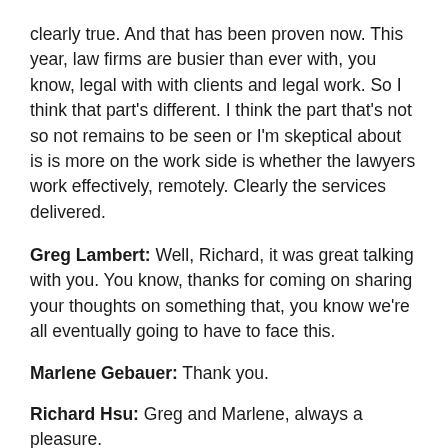clearly true. And that has been proven now. This year, law firms are busier than ever with, you know, legal with with clients and legal work. So I think that part's different. I think the part that's not so not remains to be seen or I'm skeptical about is is more on the work side is whether the lawyers work effectively, remotely. Clearly the services delivered.
Greg Lambert:  Well, Richard, it was great talking with you. You know, thanks for coming on sharing your thoughts on something that, you know we're all eventually going to have to face this.
Marlene Gebauer:  Thank you.
Richard Hsu:  Greg and Marlene, always a pleasure.